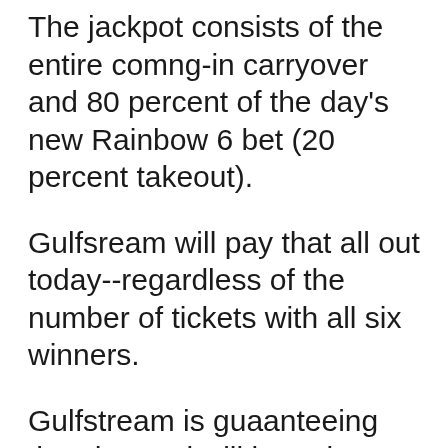The jackpot consists of the entire comng-in carryover and 80 percent of the day's new Rainbow 6 bet (20 percent takeout).
Gulfsream will pay that all out today--regardless of the number of tickets with all six winners.
Gulfstream is guaanteeing that the pool will be at least $5 million.
We expect that today's wagering on the Rainbow 6 will be closer to $10 million--even though it is another non-spectator